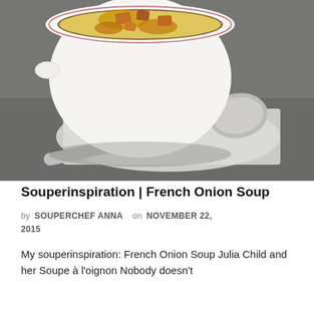[Figure (photo): A white ceramic soup bowl filled with French onion soup topped with melted golden-brown cheese and croutons, sitting on a white cloth napkin with text print, beside a large metal spoon on a gray stone surface.]
Souperinspiration | French Onion Soup
by SOUPERCHEF ANNA on NOVEMBER 22, 2015
My souperinspiration: French Onion Soup Julia Child and her Soupe à l'oignon Nobody doesn't